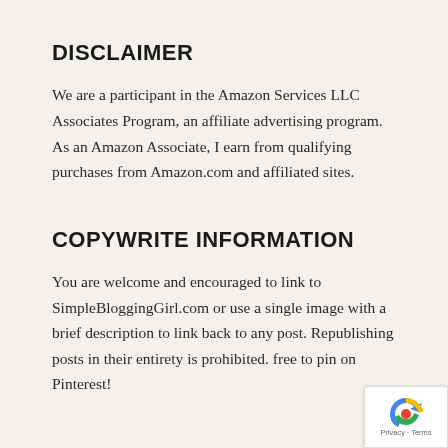DISCLAIMER
We are a participant in the Amazon Services LLC Associates Program, an affiliate advertising program. As an Amazon Associate, I earn from qualifying purchases from Amazon.com and affiliated sites.
COPYWRITE INFORMATION
You are welcome and encouraged to link to SimpleBloggingGirl.com or use a single image with a brief description to link back to any post. Republishing posts in their entirety is prohibited. free to pin on Pinterest!